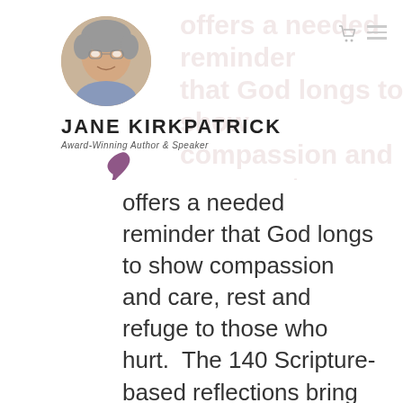[Figure (photo): Circular profile photo of Jane Kirkpatrick, an older woman with short gray hair and glasses, smiling.]
JANE KIRKPATRICK
Award-Winning Author & Speaker
[Figure (illustration): A small purple/maroon quill pen icon/signature graphic]
offers a needed reminder that God longs to show compassion and care, rest and refuge to those who hurt.  The 140 Scripture-based reflections bring hope and encouragement in the wilderness places of our lives and remind us all that in the